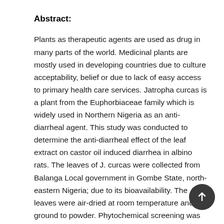Abstract:
Plants as therapeutic agents are used as drug in many parts of the world. Medicinal plants are mostly used in developing countries due to culture acceptability, belief or due to lack of easy access to primary health care services. Jatropha curcas is a plant from the Euphorbiaceae family which is widely used in Northern Nigeria as an anti-diarrheal agent. This study was conducted to determine the anti-diarrheal effect of the leaf extract on castor oil induced diarrhea in albino rats. The leaves of J. curcas were collected from Balanga Local government in Gombe State, north-eastern Nigeria; due to its bioavailability. The leaves were air-dried at room temperature and ground to powder. Phytochemical screening was done and different concentrations of the extract was prepared and administered to the different categories of